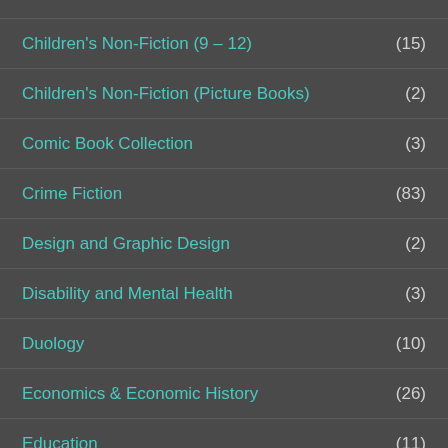Children's Non-Fiction (9 – 12)
Children's Non-Fiction (Picture Books)
Comic Book Collection
Crime Fiction
Design and Graphic Design
Disability and Mental Health
Duology
Economics & Economic History
Education
Essay(s)